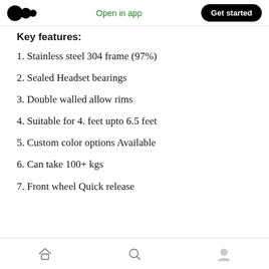Medium app header with logo, Open in app, Get started
Key features:
1. Stainless steel 304 frame (97%)
2. Sealed Headset bearings
3. Double walled allow rims
4. Suitable for 4. feet upto 6.5 feet
5. Custom color options Available
6. Can take 100+ kgs
7. Front wheel Quick release
Bottom navigation bar: home, search, profile